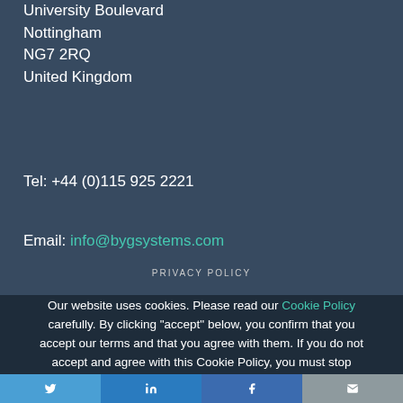University Boulevard
Nottingham
NG7 2RQ
United Kingdom
Tel: +44 (0)115 925 2221
Email: info@bygsystems.com
PRIVACY POLICY
Our website uses cookies. Please read our Cookie Policy carefully. By clicking “accept” below, you confirm that you accept our terms and that you agree with them. If you do not accept and agree with this Cookie Policy, you must stop
Twitter | LinkedIn | Facebook | Email